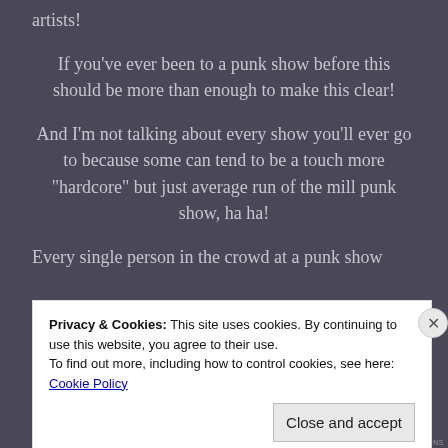artists!
If you've ever been to a punk show before this should be more than enough to make this clear!
And I'm not talking about every show you'll ever go to because some can tend to be a touch more "hardcore" but just average run of the mill punk show, ha ha!
Every single person in the crowd at a punk show
Privacy & Cookies: This site uses cookies. By continuing to use this website, you agree to their use.
To find out more, including how to control cookies, see here: Cookie Policy
Close and accept